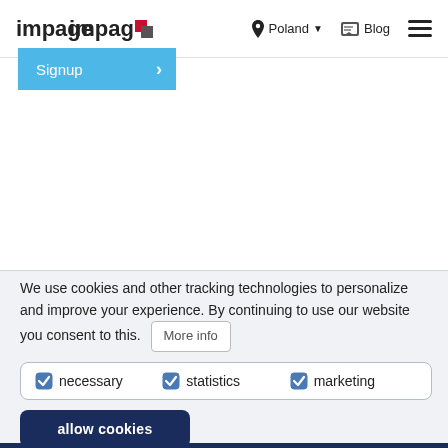impago | Poland | Blog | hamburger menu
[Figure (screenshot): Impago logo with red and grey square icon]
Signup >
We use cookies and other tracking technologies to personalize and improve your experience. By continuing to use our website you consent to this.
More info
necessary  statistics  marketing
allow cookies